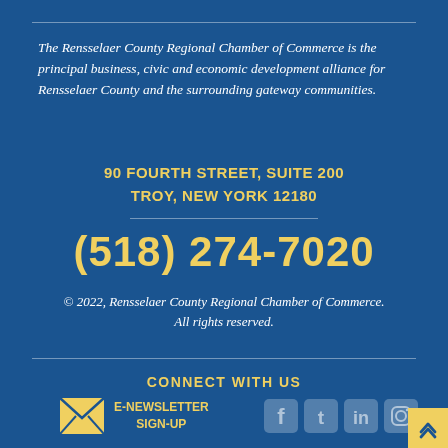The Rensselaer County Regional Chamber of Commerce is the principal business, civic and economic development alliance for Rensselaer County and the surrounding gateway communities.
90 FOURTH STREET, SUITE 200
TROY, NEW YORK 12180
(518) 274-7020
© 2022, Rensselaer County Regional Chamber of Commerce. All rights reserved.
CONNECT WITH US
E-NEWSLETTER SIGN-UP
[Figure (infographic): Social media icons: Facebook, Twitter, LinkedIn, Instagram in muted blue/grey style]